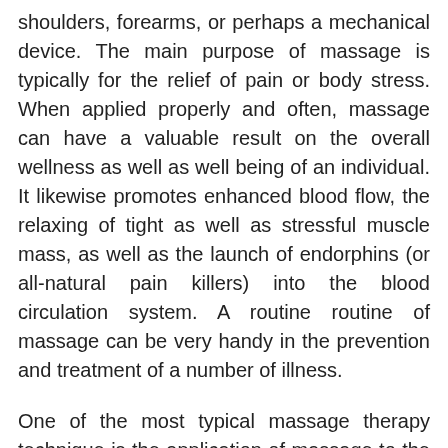shoulders, forearms, or perhaps a mechanical device. The main purpose of massage is typically for the relief of pain or body stress. When applied properly and often, massage can have a valuable result on the overall wellness as well as well being of an individual. It likewise promotes enhanced blood flow, the relaxing of tight as well as stressful muscle mass, as well as the launch of endorphins (or all-natural pain killers) into the blood circulation system. A routine routine of massage can be very handy in the prevention and treatment of a number of illness.
One of the most typical massage therapy technique is the application of massage to the head and neck locations. It is commonly supplied at fitness centers, spas, and with the services of massage therapists. When offered as a stand-alone service, it normally involves the gentle control of specific knots (or “knots”) located in the hair, scalp, and